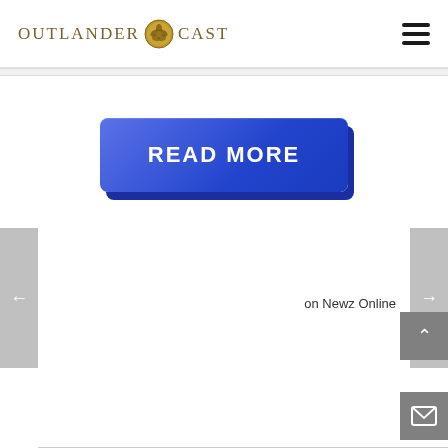OUTLANDER CAST
[Figure (other): READ MORE button — blue gradient rectangular button with bold white uppercase text]
on Newz Online
[Figure (other): Scroll up arrow button — grey square with white up arrow]
[Figure (other): Mail/envelope button — grey square with white envelope icon]